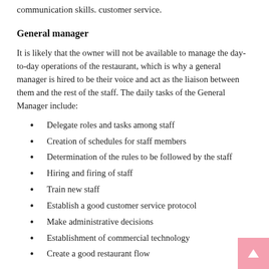communication skills. customer service.
General manager
It is likely that the owner will not be available to manage the day-to-day operations of the restaurant, which is why a general manager is hired to be their voice and act as the liaison between them and the rest of the staff. The daily tasks of the General Manager include:
Delegate roles and tasks among staff
Creation of schedules for staff members
Determination of the rules to be followed by the staff
Hiring and firing of staff
Train new staff
Establish a good customer service protocol
Make administrative decisions
Establishment of commercial technology
Create a good restaurant flow